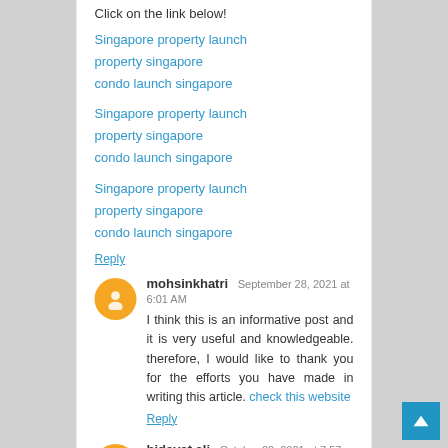Click on the link below!
Singapore property launch
property singapore
condo launch singapore
Singapore property launch
property singapore
condo launch singapore
Singapore property launch
property singapore
condo launch singapore
Reply
mohsinkhatri  September 28, 2021 at 6:01 AM
I think this is an informative post and it is very useful and knowledgeable. therefore, I would like to thank you for the efforts you have made in writing this article. check this website
Reply
hidayat ali  October 20, 2021 at 7:57 AM
A very excellent blog post. I am thankful for